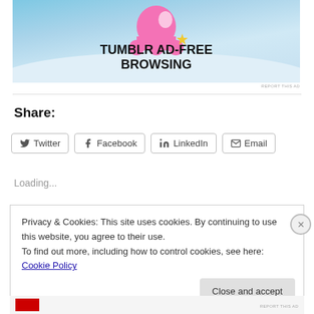[Figure (illustration): Tumblr Ad-Free Browsing advertisement banner with blue sky background and pink icon]
REPORT THIS AD
Share:
Twitter  Facebook  LinkedIn  Email
Loading...
Privacy & Cookies: This site uses cookies. By continuing to use this website, you agree to their use.
To find out more, including how to control cookies, see here: Cookie Policy
Close and accept